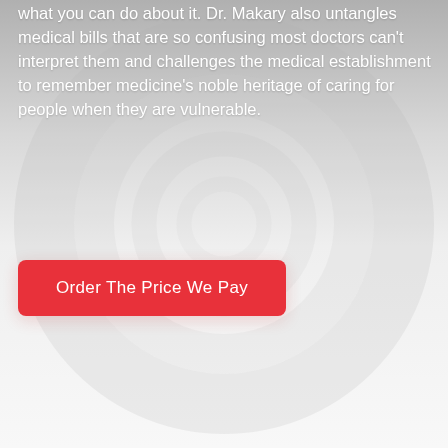what you can do about it. Dr. Makary also untangles medical bills that are so confusing most doctors can't interpret them and challenges the medical establishment to remember medicine's noble heritage of caring for people when they are vulnerable.
Order The Price We Pay